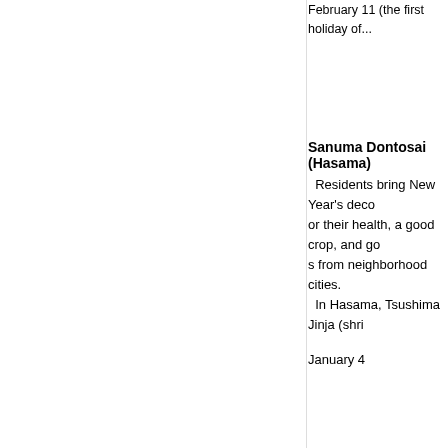February 11 (the first holiday of...
Sanuma Dontosai (Hasama)
Residents bring New Year's deco... or their health, a good crop, and go... s from neighborhood cities. In Hasama, Tsushima Jinja (shri...
January 4
Guide to winter festivals and events
| Month | Events |
| --- | --- |
| December | From December 1 to January 31 / Fuyu no Hotaru Dori (stree...
From December 1 to January 2 / Ishinomori Shotaro Furusato... Trees and the hedges are illuminated by strings of lights.
From mid-December to the beginning of January / Mokumoku... Trees are illuminated by many strings of lights. |
| Month | Events |
| --- | --- |
| January | January 14 / Sanuma Dontosai (Hasama)
January 14 / Kagano Taishido Dontosai & Nabekko Kaburi (N...
January 14 / Toyosato Dontosai (Toyosato)
January 14 / Toyoma Dontosai (Toyoma)
January 14 / Ishikoshi Dontosai & Fireworks Festival (Ishikos...
January 14 / Wakakusa Jinja Dontosai (Towa)
Mid January / Mochigiri (Yoneyama) |